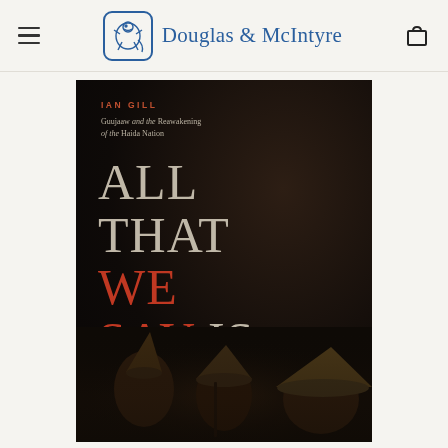Douglas & McIntyre
[Figure (photo): Book cover for 'All That We Say Is Ours' by Ian Gill, subtitled 'Guujaaw and the Reawakening of the Haida Nation'. Dark background with large display text, partial view of figures wearing traditional Haida hats at the bottom. Publisher: Douglas & McIntyre.]